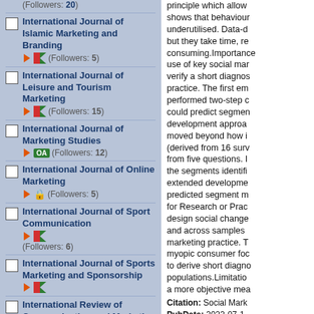(Followers: 20)
International Journal of Islamic Marketing and Branding (Followers: 5)
International Journal of Leisure and Tourism Marketing (Followers: 15)
International Journal of Marketing Studies OA (Followers: 12)
International Journal of Online Marketing (Followers: 5)
International Journal of Sport Communication (Followers: 6)
International Journal of Sports Marketing and Sponsorship
International Review of Communication and Marketing Mix : IROCAMM OA (Followers: 1)
International Review of Management and Marketing
principle which allow shows that behaviour underutilised. Data-d but they take time, re consuming.Importance use of key social mar verify a short diagnos practice. The first em performed two-step c could predict segmen development approa moved beyond how i (derived from 16 sur from five questions. the segments identifi extended developme predicted segment m for Research or Prac design social change and across samples marketing practice. T myopic consumer fo to derive short diagno populations.Limitatio a more objective mea
Citation: Social Mark PubDate: 2022-07-1 DOI: 10.1177/15245
How Social Marketi Markets in Ethiopia